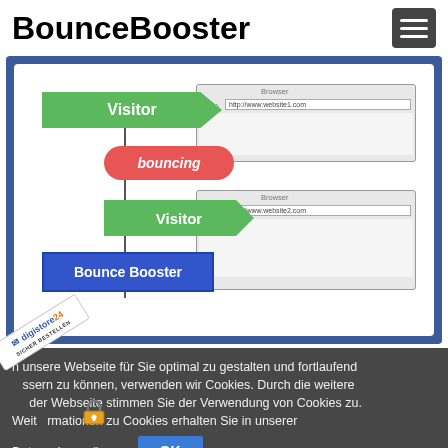BounceBooster
[Figure (infographic): Diagram showing a visitor bouncing from website1.com and being redirected by Bounce Booster to website2.com. Two browser windows are shown with green Visitor arrows and a red 'bouncing' pill label, plus a blue Bounce Booster box.]
n unsere Webseite für Sie optimal zu gestalten und fortlaufend ssern zu können, verwenden wir Cookies. Durch die weitere der Webseite stimmen Sie der Verwendung von Cookies zu. Weit rmationen zu Cookies erhalten Sie in unserer Datenschärung.